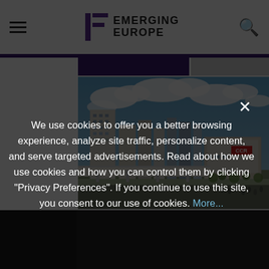Emerging Europe
[Figure (photo): Aerial/street view of a European city skyline with tall buildings, a bridge or overpass, and cloudy sky. Likely Vilnius or a similar Eastern European capital city. A large commercial building with 'CCR' signage is visible.]
Sarajevo (and…
We use cookies to offer you a better browsing experience, analyze site traffic, personalize content, and serve targeted advertisements. Read about how we use cookies and how you can control them by clicking "Privacy Preferences". If you continue to use this site, you consent to our use of cookies. More...